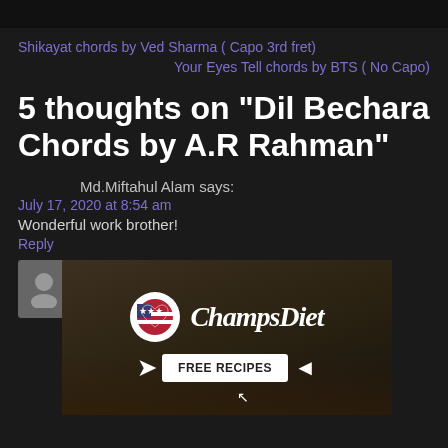Shikayat chords by Ved Sharma ( Capo 3rd fret)
Your Eyes Tell chords by BTS ( No Capo)
5 thoughts on “Dil Bechara Chords by A.R Rahman”
Md.Miftahul Alam says:
July 17, 2020 at 8:54 am
Wonderful work brother!
Reply
Khyatee Sardana Wadhwa says:
July
wov
Rep
[Figure (other): ChampsDiet advertisement banner with logo, brand name in cursive, and FREE RECIPES button with arrows on a dark food background]